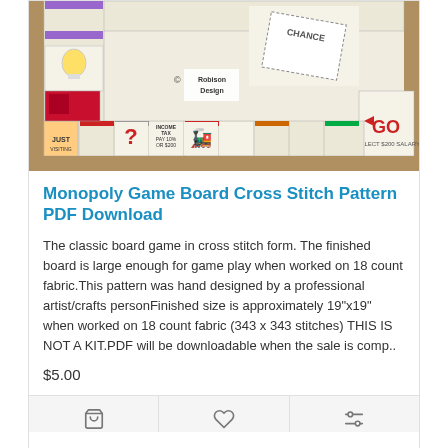[Figure (photo): Photograph of a Monopoly game board cross stitch in a wooden frame, showing the bottom portion of the board including the GO corner and several property spaces.]
Monopoly Game Board Cross Stitch Pattern PDF Download
The classic board game in cross stitch form. The finished board is large enough for game play when worked on 18 count fabric.This pattern was hand designed by a professional artist/crafts personFinished size is approximately 19"x19" when worked on 18 count fabric (343 x 343 stitches) THIS IS NOT A KIT.PDF will be downloadable when the sale is comp..
$5.00